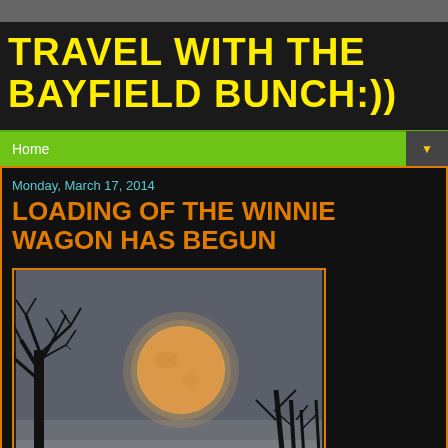TRAVEL WITH THE BAYFIELD BUNCH:))
Home
Monday, March 17, 2014
LOADING OF THE WINNIE WAGON HAS BEGUN
[Figure (photo): Night photograph of a large orange full moon rising behind dark silhouetted tree branches against a gray-blue sky, with watermark text 'Bayfield Bunch:)' in lower right corner]